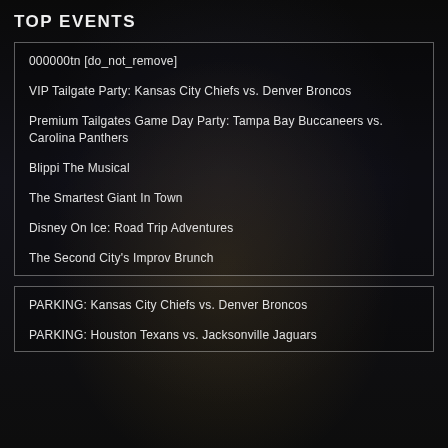TOP EVENTS
000000tn [do_not_remove]
VIP Tailgate Party: Kansas City Chiefs vs. Denver Broncos
Premium Tailgates Game Day Party: Tampa Bay Buccaneers vs. Carolina Panthers
Blippi The Musical
The Smartest Giant In Town
Disney On Ice: Road Trip Adventures
The Second City's Improv Brunch
PARKING: Kansas City Chiefs vs. Denver Broncos
PARKING: Houston Texans vs. Jacksonville Jaguars